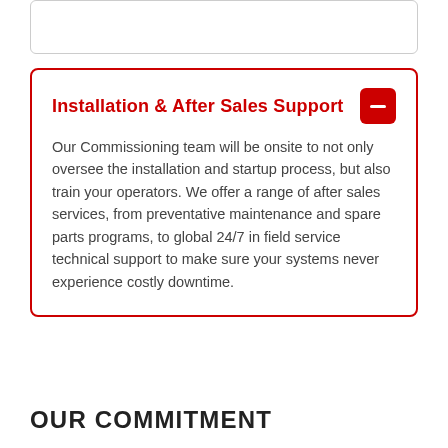Installation & After Sales Support
Our Commissioning team will be onsite to not only oversee the installation and startup process, but also train your operators. We offer a range of after sales services, from preventative maintenance and spare parts programs, to global 24/7 in field service technical support to make sure your systems never experience costly downtime.
OUR COMMITMENT